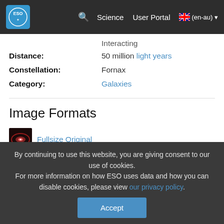ESO — Science | User Portal | (en-au)
Interacting
Distance: 50 million light years
Constellation: Fornax
Category: Galaxies
Image Formats
Fullsize Original
9.1 MB
Large JPEG
1.8 MB
Screensize JPEG
319.1 KB
By continuing to use this website, you are giving consent to our use of cookies.
For more information on how ESO uses data and how you can disable cookies, please view our privacy policy.
Accept